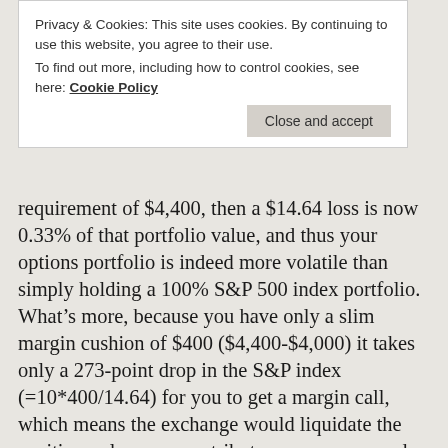Privacy & Cookies: This site uses cookies. By continuing to use this website, you agree to their use. To find out more, including how to control cookies, see here: Cookie Policy
Close and accept
requirement of $4,400, then a $14.64 loss is now 0.33% of that portfolio value, and thus your options portfolio is indeed more volatile than simply holding a 100% S&P 500 index portfolio. What’s more, because you have only a slim margin cushion of $400 ($4,400-$4,000) it takes only a 273-point drop in the S&P index (=10*400/14.64) for you to get a margin call, which means the exchange would liquidate the position unless you contribute more money and bring your account back to compliance with the margin requirements.
Of course, people will now object that the risk of a